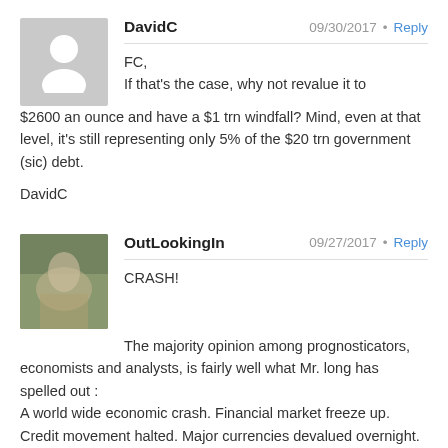DavidC — 09/30/2017 • Reply
FC,
If that's the case, why not revalue it to $2600 an ounce and have a $1 trn windfall? Mind, even at that level, it's still representing only 5% of the $20 trn government (sic) debt.

DavidC
OutLookingIn — 09/27/2017 • Reply
CRASH!

The majority opinion among prognosticators, economists and analysts, is fairly well what Mr. long has spelled out :
A world wide economic crash. Financial market freeze up. Credit movement halted. Major currencies devalued overnight. Gold and silver at thousands of multiples.